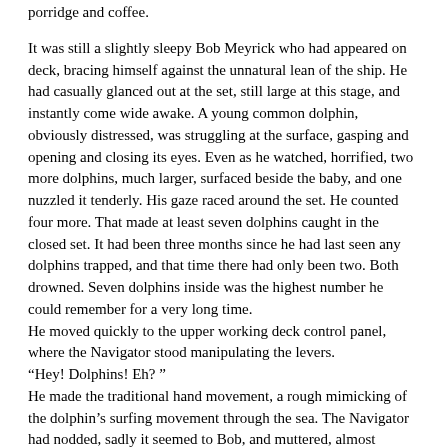porridge and coffee.
It was still a slightly sleepy Bob Meyrick who had appeared on deck, bracing himself against the unnatural lean of the ship. He had casually glanced out at the set, still large at this stage, and instantly come wide awake. A young common dolphin, obviously distressed, was struggling at the surface, gasping and opening and closing its eyes. Even as he watched, horrified, two more dolphins, much larger, surfaced beside the baby, and one nuzzled it tenderly. His gaze raced around the set. He counted four more. That made at least seven dolphins caught in the closed set. It had been three months since he had last seen any dolphins trapped, and that time there had only been two. Both drowned. Seven dolphins inside was the highest number he could remember for a very long time.
He moved quickly to the upper working deck control panel, where the Navigator stood manipulating the levers.
“Hey! Dolphins! Eh? ”
He made the traditional hand movement, a rough mimicking of the dolphin’s surfing movement through the sea. The Navigator had nodded, sadly it seemed to Bob, and muttered, almost quietly:
“Many, many! ”
Bob looked out again, and saw four, no, five more dolphins surface simultaneously, line abreast, unhurriedly, diving again almost immediately.
He groaned inwardly. Could he help? He thought of his brand new scuba